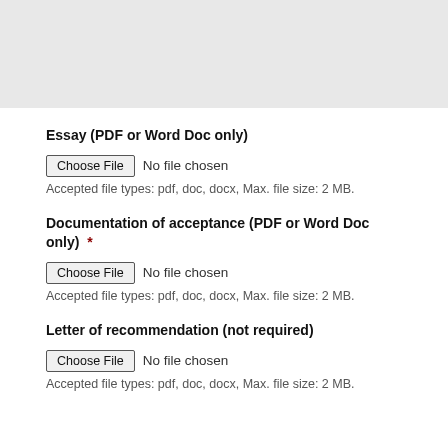[Figure (other): Gray rectangle area at top of page, appears to be a cropped form section]
Essay (PDF or Word Doc only)
Choose File  No file chosen
Accepted file types: pdf, doc, docx, Max. file size: 2 MB.
Documentation of acceptance (PDF or Word Doc only)  *
Choose File  No file chosen
Accepted file types: pdf, doc, docx, Max. file size: 2 MB.
Letter of recommendation (not required)
Choose File  No file chosen
Accepted file types: pdf, doc, docx, Max. file size: 2 MB.